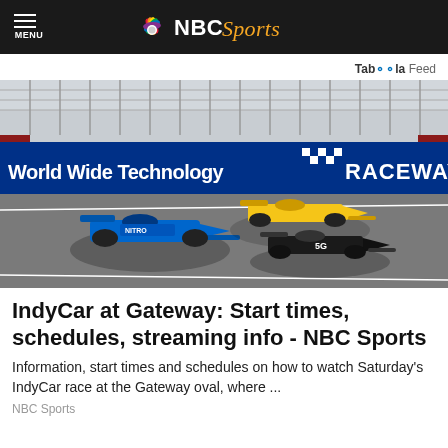NBC Sports
Taboola Feed
[Figure (photo): IndyCar racing cars on the World Wide Technology Raceway track. A blue car leads, followed by yellow and black cars on the oval circuit.]
IndyCar at Gateway: Start times, schedules, streaming info - NBC Sports
Information, start times and schedules on how to watch Saturday's IndyCar race at the Gateway oval, where ...
NBC Sports